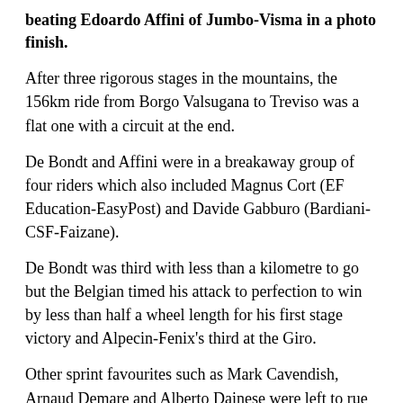beating Edoardo Affini of Jumbo-Visma in a photo finish.
After three rigorous stages in the mountains, the 156km ride from Borgo Valsugana to Treviso was a flat one with a circuit at the end.
De Bondt and Affini were in a breakaway group of four riders which also included Magnus Cort (EF Education-EasyPost) and Davide Gabburo (Bardiani-CSF-Faizane).
De Bondt was third with less than a kilometre to go but the Belgian timed his attack to perfection to win by less than half a wheel length for his first stage victory and Alpecin-Fenix's third at the Giro.
Other sprint favourites such as Mark Cavendish, Arnaud Demare and Alberto Dainese were left to rue the fact that they had not caught up with the breakaway group in time.